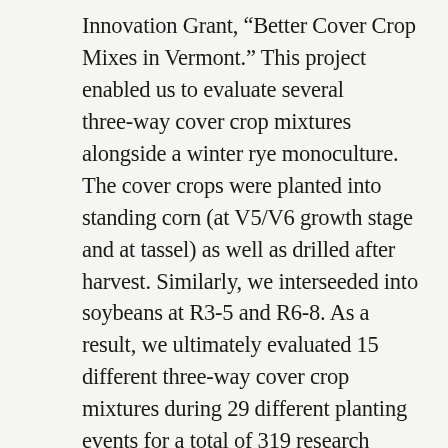Innovation Grant, "Better Cover Crop Mixes in Vermont." This project enabled us to evaluate several three-way cover crop mixtures alongside a winter rye monoculture. The cover crops were planted into standing corn (at V5/V6 growth stage and at tassel) as well as drilled after harvest. Similarly, we interseeded into soybeans at R3-5 and R6-8. As a result, we ultimately evaluated 15 different three-way cover crop mixtures during 29 different planting events for a total of 319 research plots. This work could not have happened without our farm partners. For this project alone, we collaborated with 10 farms on 13 fields in 7 Vermont towns.